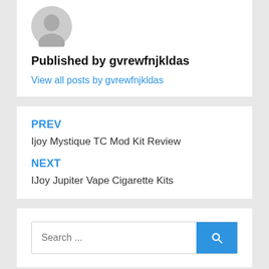[Figure (photo): User avatar placeholder — circular grey silhouette icon]
Published by gvrewfnjkldas
View all posts by gvrewfnjkldas
PREV
Ijoy Mystique TC Mod Kit Review
NEXT
IJoy Jupiter Vape Cigarette Kits
Search ...